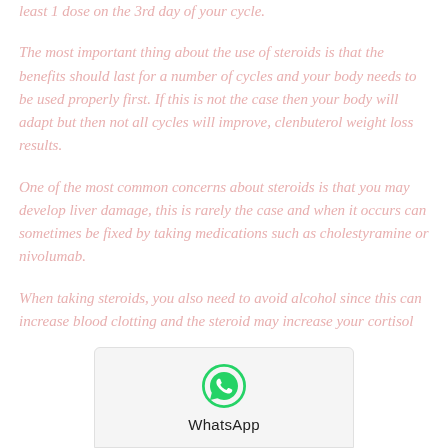least 1 dose on the 3rd day of your cycle.
The most important thing about the use of steroids is that the benefits should last for a number of cycles and your body needs to be used properly first. If this is not the case then your body will adapt but then not all cycles will improve, clenbuterol weight loss results.
One of the most common concerns about steroids is that you may develop liver damage, this is rarely the case and when it occurs can sometimes be fixed by taking medications such as cholestyramine or nivolumab.
When taking steroids, you also need to avoid alcohol since this can increase blood clotting and the steroid may increase your cortisol
[Figure (logo): WhatsApp icon with label 'WhatsApp' below it, shown as an overlay at the bottom of the page]